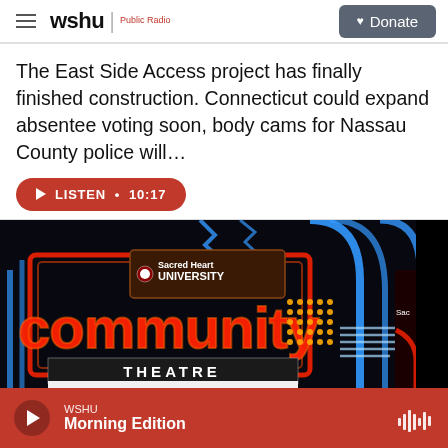wshu | Public Radio  ♥ Donate
The East Side Access project has finally finished construction. Connecticut could expand absentee voting soon, body cams for Nassau County police will…
▶ LISTEN • 10:17
[Figure (photo): Neon sign for Sacred Heart University Community Theatre showing 'COMMUNITY THEATRE' in large red and blue neon letters, with marquee reading 'MERRY AND HAPPY' at the bottom]
WSHU Morning Edition (audio player bar)